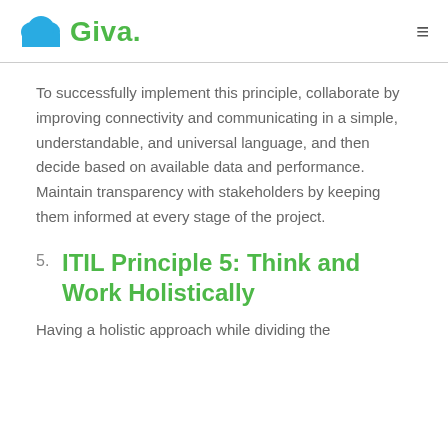Giva
To successfully implement this principle, collaborate by improving connectivity and communicating in a simple, understandable, and universal language, and then decide based on available data and performance. Maintain transparency with stakeholders by keeping them informed at every stage of the project.
5. ITIL Principle 5: Think and Work Holistically
Having a holistic approach while dividing the